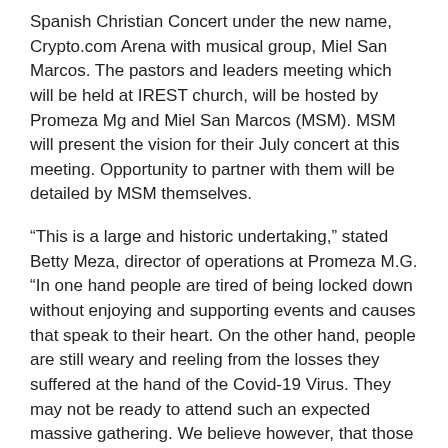Spanish Christian Concert under the new name, Crypto.com Arena with musical group, Miel San Marcos. The pastors and leaders meeting which will be held at IREST church, will be hosted by Promeza Mg and Miel San Marcos (MSM). MSM will present the vision for their July concert at this meeting. Opportunity to partner with them will be detailed by MSM themselves.
“This is a large and historic undertaking,” stated Betty Meza, director of operations at Promeza M.G. “In one hand people are tired of being locked down without enjoying and supporting events and causes that speak to their heart. On the other hand, people are still weary and reeling from the losses they suffered at the hand of the Covid-19 Virus. They may not be ready to attend such an expected massive gathering. We believe however, that those that are ready, will fill the stadium and come out with renewed strength and faith. These are the things we need for such a time as this.”
More information on this subject can be found at Promeza.com which also hosts a podcast with information on the pastors and leaders meeting. Pastors and leaders can sign up to attend the meeting by